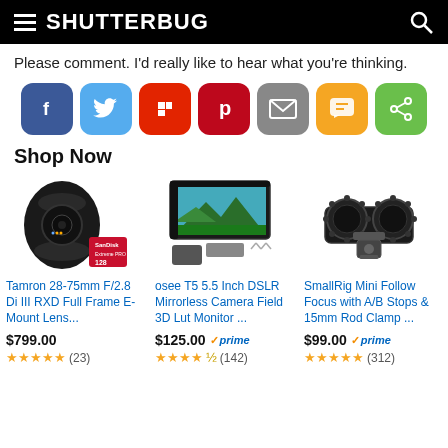SHUTTERBUG
Please comment. I'd really like to hear what you're thinking.
[Figure (infographic): Social sharing buttons: Facebook (blue), Twitter (light blue), Flipboard (red), Pinterest (dark red), Email (gray), SMS/Message (yellow/orange), Share (green)]
Shop Now
[Figure (photo): Tamron 28-75mm lens with SanDisk SD card]
Tamron 28-75mm F/2.8 Di III RXD Full Frame E-Mount Lens...
$799.00
★★★★★ (23)
[Figure (photo): osee T5 5.5 inch DSLR monitor with accessories]
osee T5 5.5 Inch DSLR Mirrorless Camera Field 3D Lut Monitor ...
$125.00 prime (142)
[Figure (photo): SmallRig Mini Follow Focus with A/B stops and 15mm rod clamp]
SmallRig Mini Follow Focus with A/B Stops & 15mm Rod Clamp ...
$99.00 prime (312)